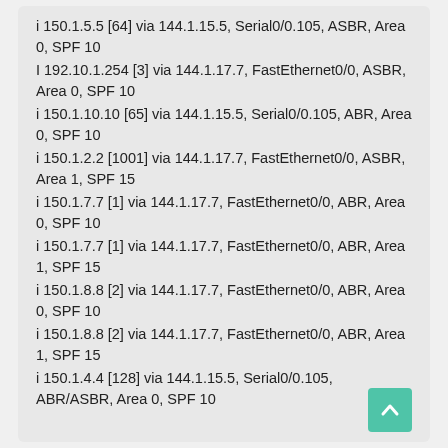i 150.1.5.5 [64] via 144.1.15.5, Serial0/0.105, ASBR, Area 0, SPF 10
I 192.10.1.254 [3] via 144.1.17.7, FastEthernet0/0, ASBR, Area 0, SPF 10
i 150.1.10.10 [65] via 144.1.15.5, Serial0/0.105, ABR, Area 0, SPF 10
i 150.1.2.2 [1001] via 144.1.17.7, FastEthernet0/0, ASBR, Area 1, SPF 15
i 150.1.7.7 [1] via 144.1.17.7, FastEthernet0/0, ABR, Area 0, SPF 10
i 150.1.7.7 [1] via 144.1.17.7, FastEthernet0/0, ABR, Area 1, SPF 15
i 150.1.8.8 [2] via 144.1.17.7, FastEthernet0/0, ABR, Area 0, SPF 10
i 150.1.8.8 [2] via 144.1.17.7, FastEthernet0/0, ABR, Area 1, SPF 15
i 150.1.4.4 [128] via 144.1.15.5, Serial0/0.105, ABR/ASBR, Area 0, SPF 10